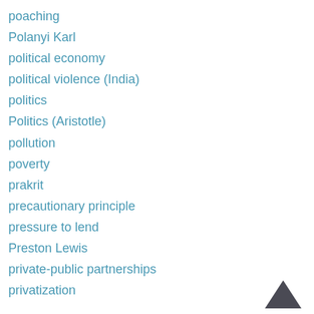poaching
Polanyi Karl
political economy
political violence (India)
politics
Politics (Aristotle)
pollution
poverty
prakrit
precautionary principle
pressure to lend
Preston Lewis
private-public partnerships
privatization
[Figure (illustration): Upward-pointing chevron/caret arrow icon in dark grey, used as a back-to-top navigation button]